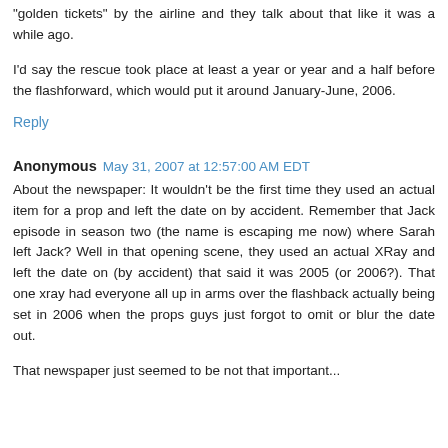"golden tickets" by the airline and they talk about that like it was a while ago.
I'd say the rescue took place at least a year or year and a half before the flashforward, which would put it around January-June, 2006.
Reply
Anonymous  May 31, 2007 at 12:57:00 AM EDT
About the newspaper: It wouldn't be the first time they used an actual item for a prop and left the date on by accident. Remember that Jack episode in season two (the name is escaping me now) where Sarah left Jack? Well in that opening scene, they used an actual XRay and left the date on (by accident) that said it was 2005 (or 2006?). That one xray had everyone all up in arms over the flashback actually being set in 2006 when the props guys just forgot to omit or blur the date out.
That newspaper just seemed to be not that important...